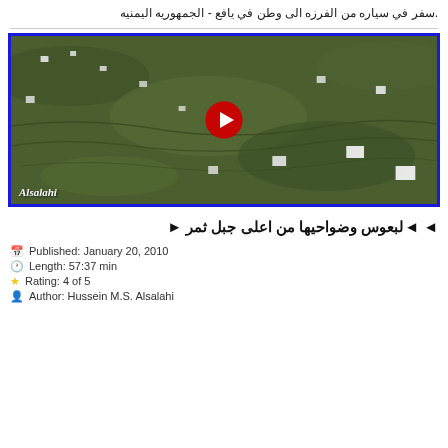.سفر في سياره من الفرزه الى وطن في يافع - الجمهوريه اليمنيه
[Figure (screenshot): YouTube video thumbnail showing aerial landscape view of Yemeni mountainous terrain with villages, with blue border frame and Alsalahi watermark. Red YouTube play button in center.]
◄ ◄لبعوس وضواحيها من اعلى جبل ثمر ►
Published: January 20, 2010
Length: 57:37 min
Rating: 4 of 5
Author: Hussein M.S. Alsalahi